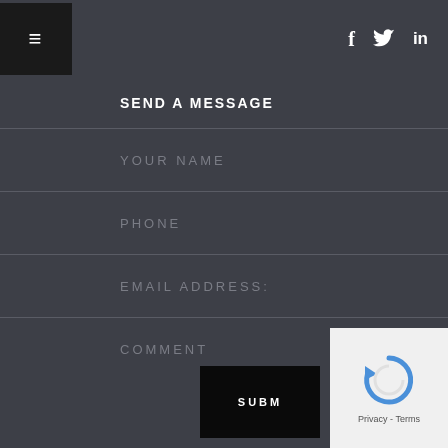[Figure (screenshot): Navigation header with hamburger menu button on the left and social media icons (f, twitter bird, in) on the right]
SEND A MESSAGE
YOUR NAME
PHONE
EMAIL ADDRESS:
COMMENT
SUBM
[Figure (logo): reCAPTCHA widget with circular arrow icon and Privacy - Terms text]